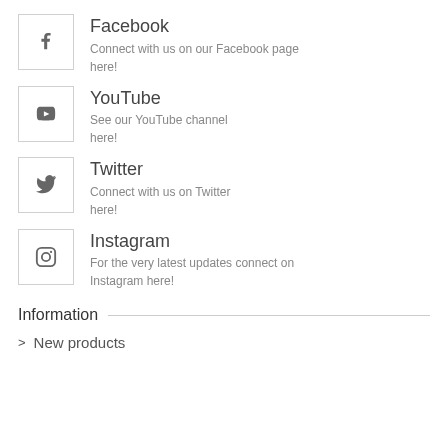Facebook
Connect with us on our Facebook page here!
YouTube
See our YouTube channel here!
Twitter
Connect with us on Twitter here!
Instagram
For the very latest updates connect on Instagram here!
Information
New products